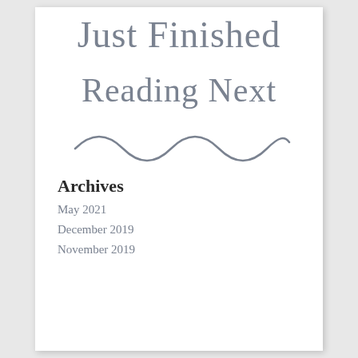Just Finished
Reading Next
[Figure (illustration): Decorative wavy line divider in gray]
Archives
May 2021
December 2019
November 2019